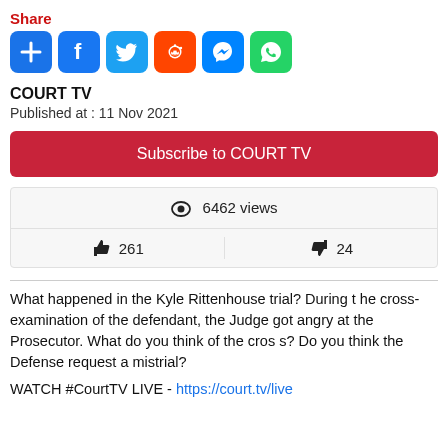Share
[Figure (infographic): Social share icons: More (+), Facebook, Twitter, Reddit, Messenger, WhatsApp]
COURT TV
Published at : 11 Nov 2021
Subscribe to COURT TV
| 👁 6462 views |
| 👍 261 | 👎 24 |
What happened in the Kyle Rittenhouse trial? During the cross-examination of the defendant, the Judge got angry at the Prosecutor. What do you think of the cross? Do you think the Defense request a mistrial?
WATCH #CourtTV LIVE - https://court.tv/live